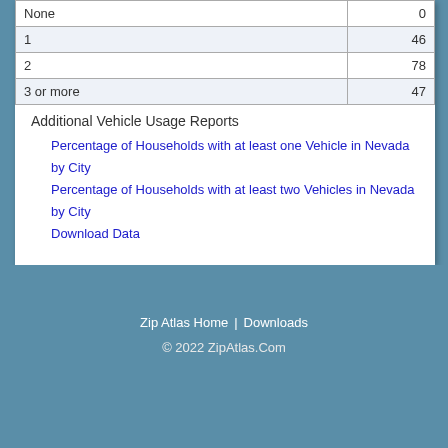|  |  |
| --- | --- |
| None | 0 |
| 1 | 46 |
| 2 | 78 |
| 3 or more | 47 |
Additional Vehicle Usage Reports
Percentage of Households with at least one Vehicle in Nevada by City
Percentage of Households with at least two Vehicles in Nevada by City
Download Data
Zip Atlas Home | Downloads © 2022 ZipAtlas.Com